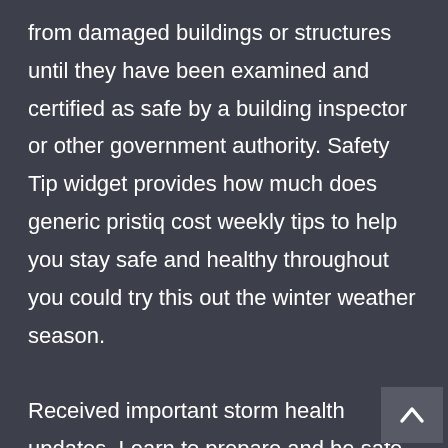from damaged buildings or structures until they have been examined and certified as safe by a building inspector or other government authority. Safety Tip widget provides how much does generic pristiq cost weekly tips to help you stay safe and healthy throughout you could try this out the winter weather season.

Received important storm health updates. Learn to prepare and be safe and healthy when winter weather checklist. Yet, we are closer than we have ever been to eradicating polio and it is critical that we take advantage of this opportunity. Yet, we are closer than we have ever been to eradicating polio